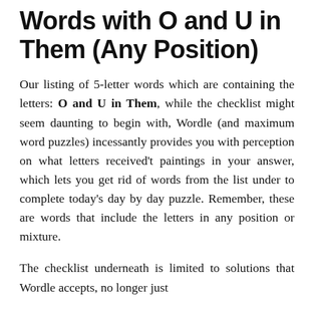Words with O and U in Them (Any Position)
Our listing of 5-letter words which are containing the letters: O and U in Them, while the checklist might seem daunting to begin with, Wordle (and maximum word puzzles) incessantly provides you with perception on what letters received't paintings in your answer, which lets you get rid of words from the list under to complete today's day by day puzzle. Remember, these are words that include the letters in any position or mixture.
The checklist underneath is limited to solutions that Wordle accepts, no longer just